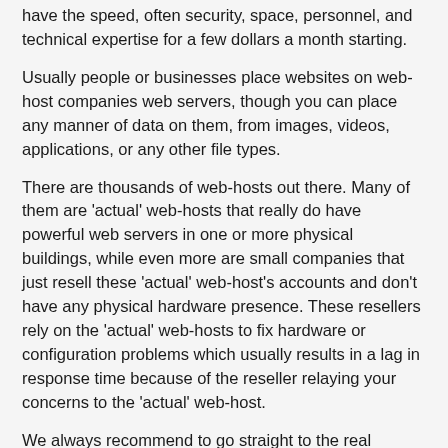have the speed, often security, space, personnel, and technical expertise for a few dollars a month starting.
Usually people or businesses place websites on web-host companies web servers, though you can place any manner of data on them, from images, videos, applications, or any other file types.
There are thousands of web-hosts out there. Many of them are 'actual' web-hosts that really do have powerful web servers in one or more physical buildings, while even more are small companies that just resell these 'actual' web-host's accounts and don't have any physical hardware presence. These resellers rely on the 'actual' web-hosts to fix hardware or configuration problems which usually results in a lag in response time because of the reseller relaying your concerns to the 'actual' web-host.
We always recommend to go straight to the real webhosts instead of using resellers (resellers who don't add more value then the 'actual' web-host are true middlemen which may add to your webhosting bill too). And this can be fairly difficult to know who is real and who are resellers.
Not to mention that almost none of these 'actual' webhost's use sustainable energy technology, but we'll save that conversation for the another step of which we'll help you out.